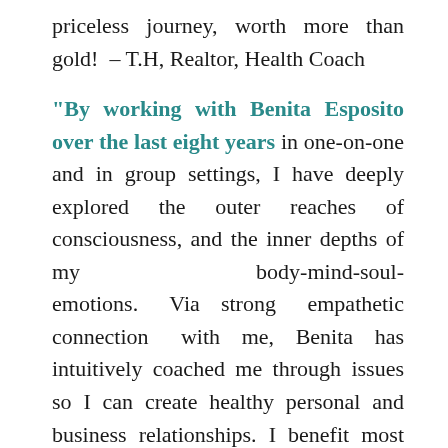priceless journey, worth more than gold! – T.H, Realtor, Health Coach
“By working with Benita Esposito over the last eight years in one-on-one and in group settings, I have deeply explored the outer reaches of consciousness, and the inner depths of my body-mind-soul-emotions. Via strong empathetic connection with me, Benita has intuitively coached me through issues so I can create healthy personal and business relationships. I benefit most from group